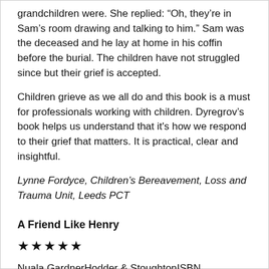grandchildren were. She replied: “Oh, they’re in Sam’s room drawing and talking to him.” Sam was the deceased and he lay at home in his coffin before the burial. The children have not struggled since but their grief is accepted.
Children grieve as we all do and this book is a must for professionals working with children. Dyregrov’s book helps us understand that it’s how we respond to their grief that matters. It is practical, clear and insightful.
Lynne Fordyce, Children’s Bereavement, Loss and Trauma Unit, Leeds PCT
A Friend Like Henry
★★★★★
Nuala GardnerHodder & StoughtonISBN 9780340934012, £14.99